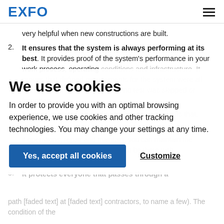EXFO
very helpful when new constructions are built.
It ensures that the system is always performing at its best. It provides proof of the system's performance in your work process, operating conditions and infrastructure. It proves that defined requirements for the system were all checked and it guarantees that no test was skipped or forgotten.
It eases monitoring and automation. It confirms that, [faded content continues]
We use cookies
In order to provide you with an optimal browsing experience, we use cookies and other tracking technologies. You may change your settings at any time.
It protects everyone that passes through a [faded] path [faded content continues] contractors, to name a few). The condition of the [continues]